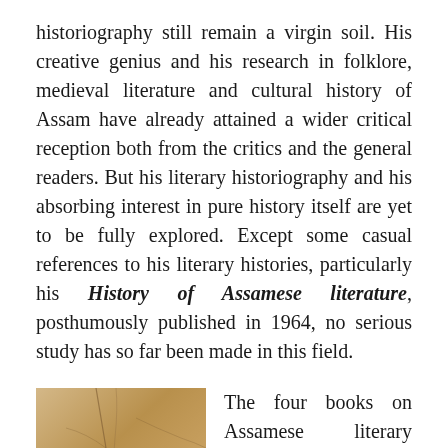historiography still remain a virgin soil. His creative genius and his research in folklore, medieval literature and cultural history of Assam have already attained a wider critical reception both from the critics and the general readers. But his literary historiography and his absorbing interest in pure history itself are yet to be fully explored. Except some casual references to his literary histories, particularly his History of Assamese literature, posthumously published in 1964, no serious study has so far been made in this field.
[Figure (photo): A reproduction of Michelangelo's Creation of Adam (detail) showing two hands nearly touching, painted in warm earthy tones.]
The four books on Assamese literary history in English (along with other works of historical importance) by B.K Barua with which he had been engaged since the early